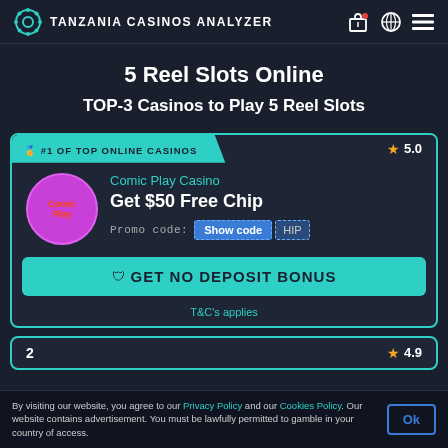TANZANIA CASINOS ANALYZER
5 Reel Slots Online
TOP-3 Casinos to Play 5 Reel Slots
#1 OF TOP ONLINE CASINOS   ★ 5.0
Comic Play Casino
Get $50 Free Chip
Promo code: Show code HIP
GET NO DEPOSIT BONUS
T&C's applies
2   ★ 4.9
By visiting our website, you agree to our Privacy Policy and our Cookies Policy. Our website contains advertisement. You must be lawfully permitted to gamble in your country of access.